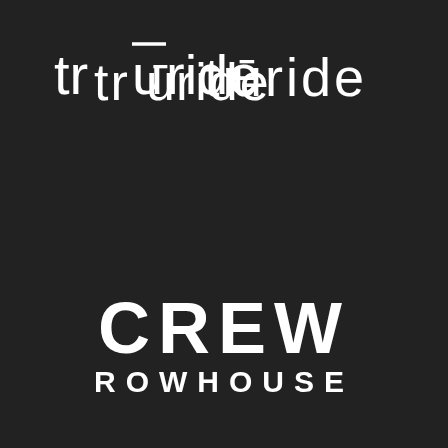[Figure (logo): TrūRide logo in white on dark background. Lowercase geometric sans-serif lettering reading 'truride' with a macron (overline) above the 'u', giving it a stylized look.]
[Figure (logo): CREW ROWHOUSE logo in white bold uppercase block letters on dark background. 'CREW' in large letters on top line, 'ROWHOUSE' in smaller letters below.]